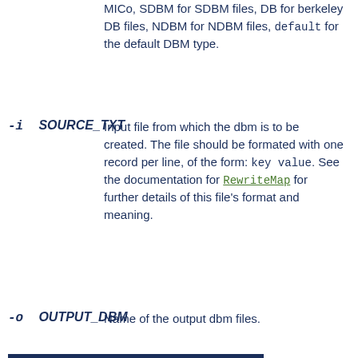MICo, SDBM for SDBM files, DB for berkeley DB files, NDBM for NDBM files, default for the default DBM type.
-i SOURCE_TXT  Input file from which the dbm is to be created. The file should be formated with one record per line, of the form: key value. See the documentation for RewriteMap for further details of this file's format and meaning.
-o OUTPUT_DBM  Name of the output dbm files.